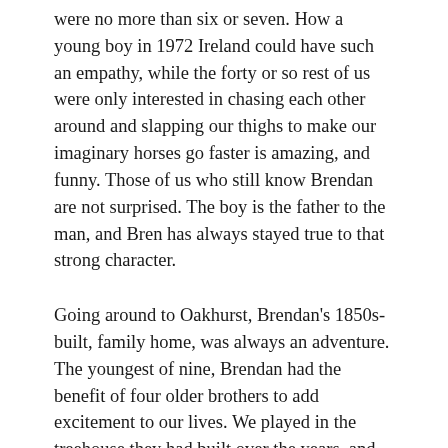were no more than six or seven. How a young boy in 1972 Ireland could have such an empathy, while the forty or so rest of us were only interested in chasing each other around and slapping our thighs to make our imaginary horses go faster is amazing, and funny. Those of us who still know Brendan are not surprised. The boy is the father to the man, and Bren has always stayed true to that strong character.
Going around to Oakhurst, Brendan's 1850s-built, family home, was always an adventure. The youngest of nine, Brendan had the benefit of four older brothers to add excitement to our lives. We played in the treehouse they had built over the years, and one of them always had some engine or machine going in the garage. There was even an old Morris Minor that Brendan, Mark and I drove around the gravel-lined driveway. At least we did until I sped it into the bushes one summer's evening; whichever brother owned it hadn't fixed the brakes. Luckily Brendan's strict mother was inside watching Garret Fitzgerald, the then Taoiseach